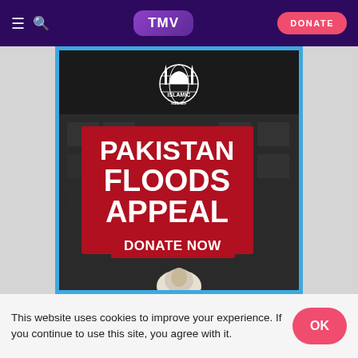TMV | DONATE
[Figure (illustration): Islamic Relief Pakistan Floods Appeal advertisement. Dark background with destroyed building. Islamic Relief logo (mosque with minarets inside a globe) at top. Large bold white text on red background reads 'PAKISTAN FLOODS APPEAL'. Below a red button reads 'DONATE NOW'. A person wearing a white head covering appears at bottom.]
This website uses cookies to improve your experience. If you continue to use this site, you agree with it.